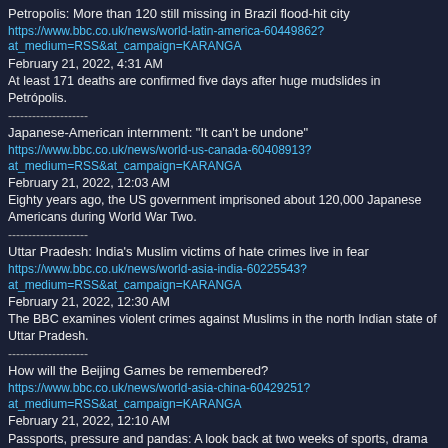Petropolis: More than 120 still missing in Brazil flood-hit city
https://www.bbc.co.uk/news/world-latin-america-60449862?at_medium=RSS&at_campaign=KARANGA
February 21, 2022, 4:31 AM
At least 171 deaths are confirmed five days after huge mudslides in Petrópolis.
--------------------
Japanese-American internment: "It can't be undone"
https://www.bbc.co.uk/news/world-us-canada-60408913?at_medium=RSS&at_campaign=KARANGA
February 21, 2022, 12:03 AM
Eighty years ago, the US government imprisoned about 120,000 Japanese Americans during World War Two.
--------------------
Uttar Pradesh: India's Muslim victims of hate crimes live in fear
https://www.bbc.co.uk/news/world-asia-india-60225543?at_medium=RSS&at_campaign=KARANGA
February 21, 2022, 12:30 AM
The BBC examines violent crimes against Muslims in the north Indian state of Uttar Pradesh.
--------------------
How will the Beijing Games be remembered?
https://www.bbc.co.uk/news/world-asia-china-60429251?at_medium=RSS&at_campaign=KARANGA
February 21, 2022, 12:10 AM
Passports, pressure and pandas: A look back at two weeks of sports, drama and controversy.
--------------------
Ukraine crisis: Criss-crossing the country with Zelensky
https://www.bbc.co.uk/news/world-europe-60451034?at_medium=RSS&at_campaign=KARANGA
February 20, 2022, 5:01 AM
The BBC's Sarah Rainsford travels with Ukraine's leader amid his efforts to prevent a Russian invasion.
--------------------
The man who lived in a Singapore forest for 30 years
https://www.bbc.co.uk/news/world-asia-60284352?at_medium=RSS&at_campaign=KARANGA
February 20, 2022, 12:00 AM